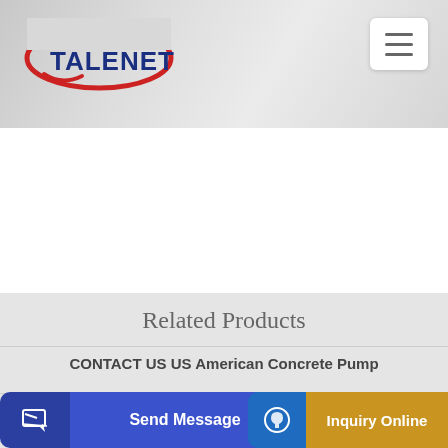[Figure (logo): Talenet logo with red ellipse and blue text]
[Figure (other): Hamburger menu button (three horizontal lines) in white rounded box]
Related Products
CONTACT US US American Concrete Pump
truck height self loading concrete mixer
[Figure (other): Send Message button with pencil icon on dark blue background]
[Figure (other): Inquiry Online button with headset icon on blue/gold background]
be use